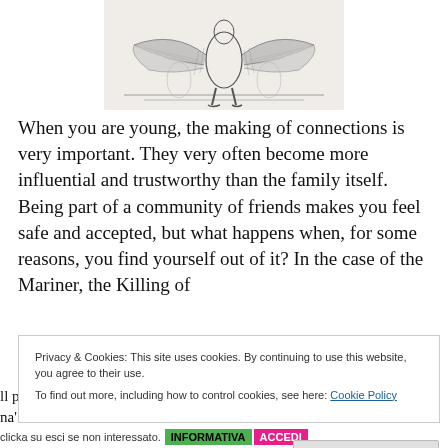[Figure (illustration): Black and white pencil/engraving style illustration of figures (possibly birds or allegorical creatures) with outstretched wings or limbs, sitting or standing, appearing to be in a dramatic pose.]
When you are young, the making of connections is very important. They very often become more influential and trustworthy than the family itself. Being part of a community of friends makes you feel safe and accepted, but what happens when, for some reasons, you find yourself out of it? In the case of the Mariner, the Killing of
Privacy & Cookies: This site uses cookies. By continuing to use this website, you agree to their use.
To find out more, including how to control cookies, see here: Cookie Policy
Close and accept
ll p
na'
clicka su esci se non interessato. INFORMATIVA ACCEDI
sun rise after so many d... is cold, they "all
clicka su esci se non interessato.